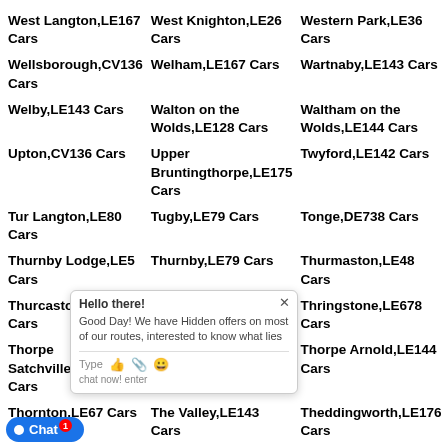West Langton,LE167 Cars
West Knighton,LE26 Cars
Western Park,LE36 Cars
Wellsborough,CV136 Cars
Welham,LE167 Cars
Wartnaby,LE143 Cars
Welby,LE143 Cars
Walton on the Wolds,LE128 Cars
Waltham on the Wolds,LE144 Cars
Upton,CV136 Cars
Upper Bruntingthorpe,LE175 Cars
Twyford,LE142 Cars
Tur Langton,LE80 Cars
Tugby,LE79 Cars
Tonge,DE738 Cars
Thurnby Lodge,LE5 Cars
Thurnby,LE79 Cars
Thurmaston,LE48 Cars
Thurcaston,LE7 Cars
Thrussington,LE74 Cars
Thringstone,LE678 Cars
Thorpe Satchville,LE142 Cars
Thorpe Langton,LE167 Cars
Thorpe Arnold,LE144 Cars
Thornton,LE67 Cars
The Valley,LE143 Cars
Theddingworth,LE176 Cars
Stonton Wyville,LE16 Cars
Swinford,LE176 Cars
Swepstone,LE672 Cars
Swannington,LE678 Cars
Sutton in the